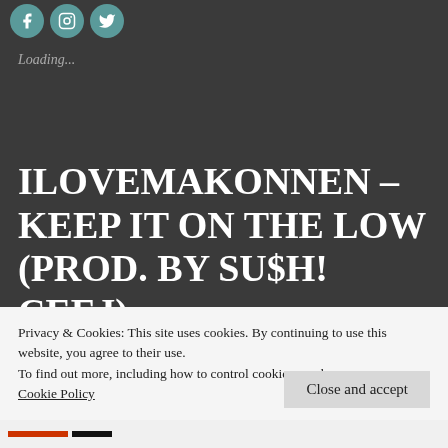[Figure (illustration): Three circular social media icons (teal/cyan colored) for Facebook, Instagram, and Twitter at top left]
Loading...
ILOVEMAKONNEN – KEEP IT ON THE LOW (PROD. BY SU$H! CEEJ)
May 4, 2016
Privacy & Cookies: This site uses cookies. By continuing to use this website, you agree to their use.
To find out more, including how to control cookies, see here: Cookie Policy
Close and accept